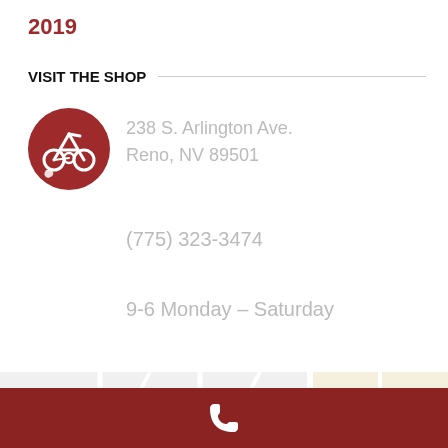2019
VISIT THE SHOP
[Figure (logo): Red circular logo with a stylized 'A' bicycle/gear mark in white]
238 S. Arlington Ave.
Reno, NV 89501
(775) 323-3474
9-6 Monday – Saturday
[Figure (map): Street map showing area near S Arlington Ave, Reno NV, with Island Ave, Court St, Pickard Pl, S Virginia visible]
[Figure (other): Dark red footer bar with white phone handset icon]